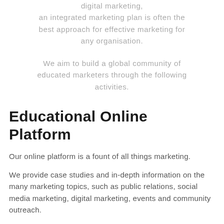digital marketing, an integrated marketing plan is often the best approach for effective marketing for any organisation.
We aim to build a global community of educated marketers through the following activities.
Educational Online Platform
Our online platform is a fount of all things marketing.
We provide case studies and in-depth information on the many marketing topics, such as public relations, social media marketing, digital marketing, events and community outreach.